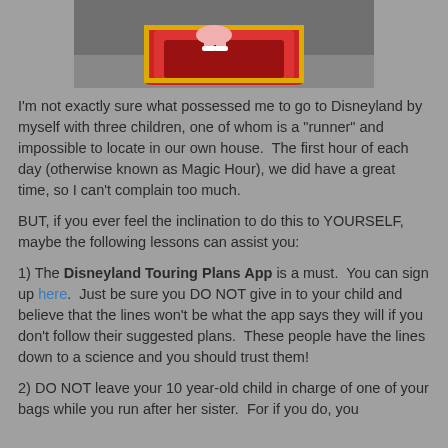[Figure (photo): Photo of a child in a red ride vehicle at Disneyland, viewed from above, with brick pavement visible in background]
I'm not exactly sure what possessed me to go to Disneyland by myself with three children, one of whom is a "runner" and impossible to locate in our own house.  The first hour of each day (otherwise known as Magic Hour), we did have a great time, so I can't complain too much.
BUT, if you ever feel the inclination to do this to YOURSELF, maybe the following lessons can assist you:
1) The Disneyland Touring Plans App is a must.  You can sign up here.  Just be sure you DO NOT give in to your child and believe that the lines won't be what the app says they will if you don't follow their suggested plans.  These people have the lines down to a science and you should trust them!
2) DO NOT leave your 10 year-old child in charge of one of your bags while you run after her sister.  For if you do, you